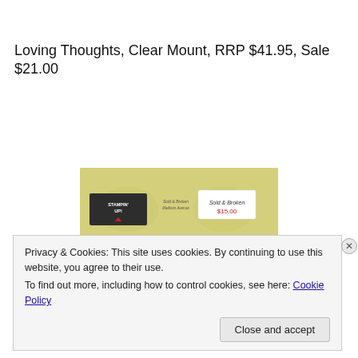Loving Thoughts, Clear Mount, RRP $41.95, Sale $21.00
[Figure (photo): Product packaging for Stampin' Up! Loving Thoughts clear mount stamp set, showing the front of the box with a handwritten price label reading 'Sold & Broken $15.00']
Privacy & Cookies: This site uses cookies. By continuing to use this website, you agree to their use.
To find out more, including how to control cookies, see here: Cookie Policy
Close and accept